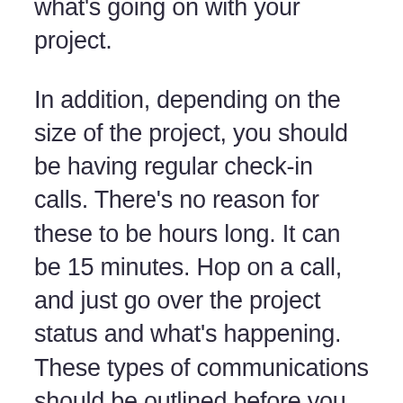what's going on with your project.
In addition, depending on the size of the project, you should be having regular check-in calls. There's no reason for these to be hours long. It can be 15 minutes. Hop on a call, and just go over the project status and what's happening. These types of communications should be outlined before you even start a project.
Okay, next thing. We're almost done here. Next is to ask for what type of documentation is going to be provided on the system, and this is a big one. It's very unusual that you would hire somebody to